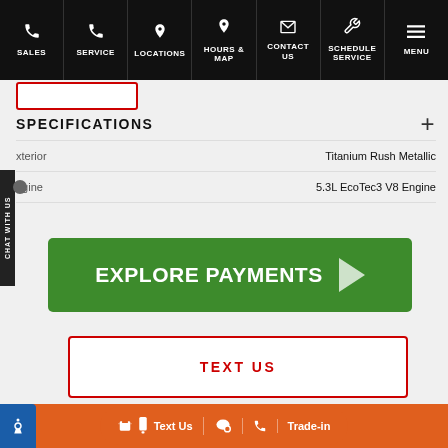SALES | SERVICE | LOCATIONS | HOURS & MAP | CONTACT US | SCHEDULE SERVICE | MENU
SPECIFICATIONS
| Specification | Value |
| --- | --- |
| Exterior | Titanium Rush Metallic |
| Engine | 5.3L EcoTec3 V8 Engine |
[Figure (screenshot): Green 'EXPLORE PAYMENTS' call-to-action button with right-pointing arrow]
TEXT US
Text Us | [chat icon] | [phone icon] | Trade-in